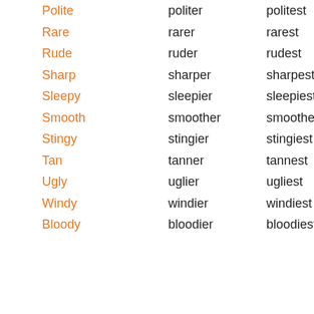| Polite | politer | politest |
| Rare | rarer | rarest |
| Rude | ruder | rudest |
| Sharp | sharper | sharpest |
| Sleepy | sleepier | sleepiest |
| Smooth | smoother | smoothest |
| Stingy | stingier | stingiest |
| Tan | tanner | tannest |
| Ugly | uglier | ugliest |
| Windy | windier | windiest |
| Bloody | bloodier | bloodiest |